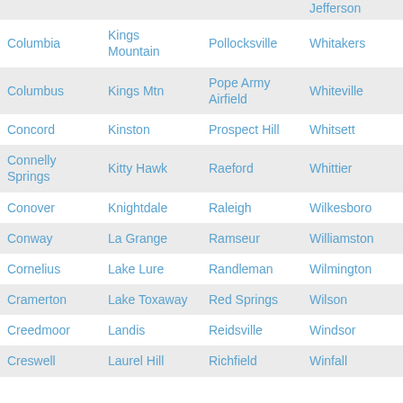|  |  |  | Jefferson |
| Columbia | Kings Mountain | Pollocksville | Whitakers |
| Columbus | Kings Mtn | Pope Army Airfield | Whiteville |
| Concord | Kinston | Prospect Hill | Whitsett |
| Connelly Springs | Kitty Hawk | Raeford | Whittier |
| Conover | Knightdale | Raleigh | Wilkesboro |
| Conway | La Grange | Ramseur | Williamston |
| Cornelius | Lake Lure | Randleman | Wilmington |
| Cramerton | Lake Toxaway | Red Springs | Wilson |
| Creedmoor | Landis | Reidsville | Windsor |
| Creswell | Laurel Hill | Richfield | Winfall |